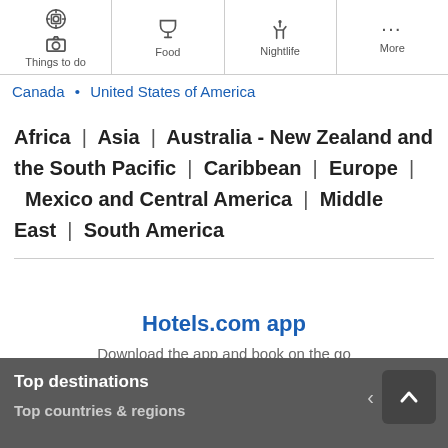Things to do | Food | Nightlife | More
Canada • United States of America
Africa | Asia | Australia - New Zealand and the South Pacific | Caribbean | Europe | Mexico and Central America | Middle East | South America
Hotels.com app
Download the app and book on the go
Top destinations
Top countries & regions